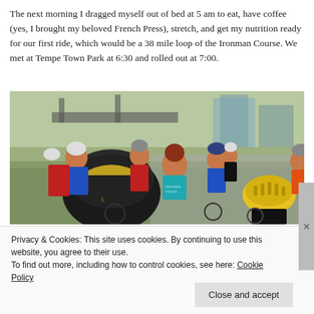The next morning I dragged myself out of bed at 5 am to eat, have coffee (yes, I brought my beloved French Press), stretch, and get my nutrition ready for our first ride, which would be a 38 mile loop of the Ironman Course. We met at Tempe Town Park at 6:30 and rolled out at 7:00.
[Figure (photo): A group of cyclists in helmets and cycling gear gathered at what appears to be a park or outdoor area before a ride. One woman in a teal top is smiling at the camera. Several riders in blue and red cycling jerseys are visible, along with bicycles. A yellow helmet is prominent in the foreground right.]
Privacy & Cookies: This site uses cookies. By continuing to use this website, you agree to their use.
To find out more, including how to control cookies, see here: Cookie Policy
Close and accept